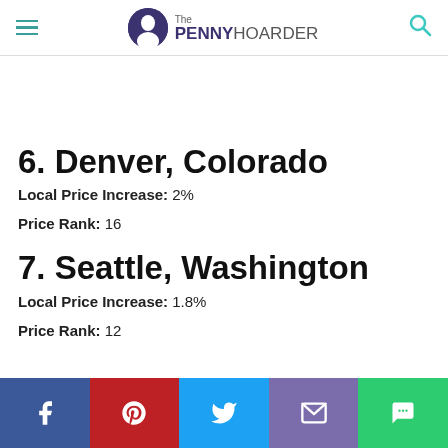The PENNY HOARDER
6. Denver, Colorado
Local Price Increase: 2%
Price Rank: 16
7. Seattle, Washington
Local Price Increase: 1.8%
Price Rank: 12